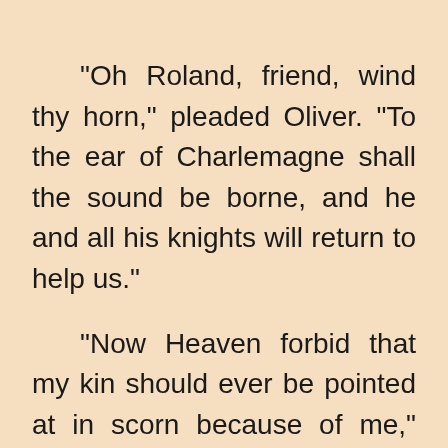"Oh Roland, friend, wind thy horn," pleaded Oliver. "To the ear of Charlemagne shall the sound be borne, and he and all his knights will return to help us."
"Now Heaven forbid that my kin should ever be pointed at in scorn because of me," said Roland, "or that fair France should fall to such dishonour. No! I will not sound upon my horn, but I shall strike such blows with my